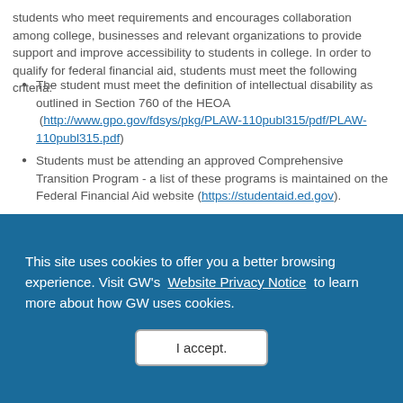students who meet requirements and encourages collaboration among college, businesses and relevant organizations to provide support and improve accessibility to students in college. In order to qualify for federal financial aid, students must meet the following criteria:
The student must meet the definition of intellectual disability as outlined in Section 760 of the HEOA (http://www.gpo.gov/fdsys/pkg/PLAW-110publ315/pdf/PLAW-110publ315.pdf)
Students must be attending an approved Comprehensive Transition Program - a list of these programs is maintained on the Federal Financial Aid website (https://studentaid.ed.gov).
Students who meet these two criteria DO NOT have to have a standard school diploma, or be pursuing a degree or certificate.
Students with intellectual disabilities DO still have to meet the financial criteria for eligibility
They are eligible for federal grants and work study funds, but NOT st...
This site uses cookies to offer you a better browsing experience. Visit GW's Website Privacy Notice to learn more about how GW uses cookies.